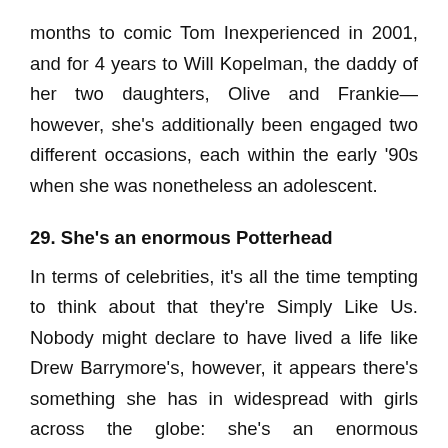months to comic Tom Inexperienced in 2001, and for 4 years to Will Kopelman, the daddy of her two daughters, Olive and Frankie—however, she's additionally been engaged two different occasions, each within the early '90s when she was nonetheless an adolescent.
29. She's an enormous Potterhead
In terms of celebrities, it's all the time tempting to think about that they're Simply Like Us. Nobody might declare to have lived a life like Drew Barrymore's, however, it appears there's something she has in widespread with girls across the globe: she's an enormous Potterhead.